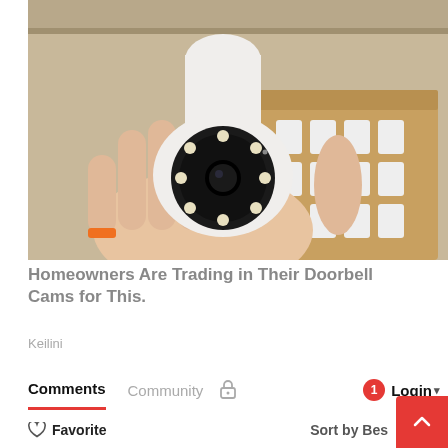[Figure (photo): A person holding a white bulb-shaped security camera with multiple LEDs around the lens. In the background, a box containing more white camera units is visible.]
Homeowners Are Trading in Their Doorbell Cams for This.
Keilini
Comments  Community  🔒  1  Login
♡ Favorite   Sort by Best